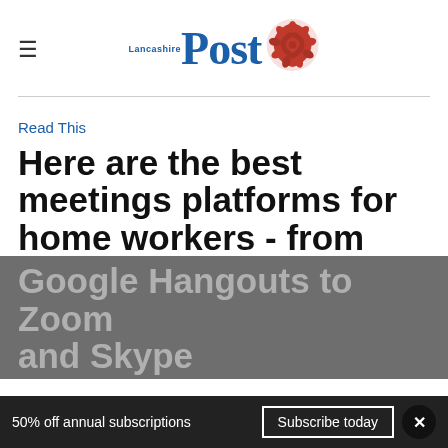Lancashire Post
Read This
Here are the best meetings platforms for home workers - from Google Hangouts to Zoom and Skype
50% off annual subscriptions
Subscribe today